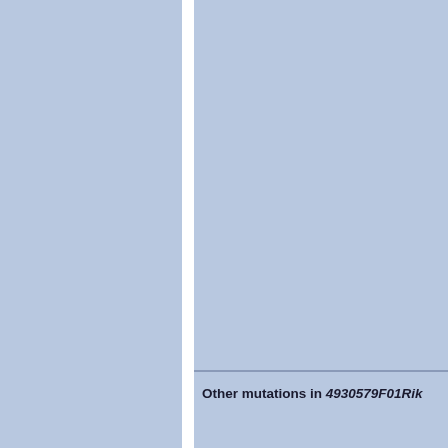[Figure (other): Two-panel figure with light blue background divided by a white vertical divider. The right panel contains a caption at the bottom reading 'Other mutations in 4930579F01Rik']
Other mutations in 4930579F01Rik